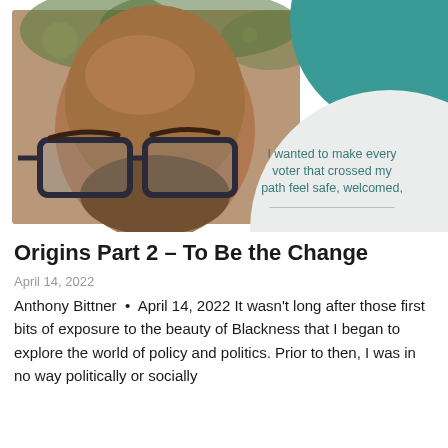[Figure (photo): Close-up photo of a bald man wearing dark-framed glasses, with a teal decorative circle in the upper right and a light gray circle in the lower right overlaid with a quote]
Origins Part 2 – To Be the Change
April 14, 2022
Anthony Bittner • April 14, 2022 It wasn't long after those first bits of exposure to the beauty of Blackness that I began to explore the world of policy and politics. Prior to then, I was in no way politically or socially